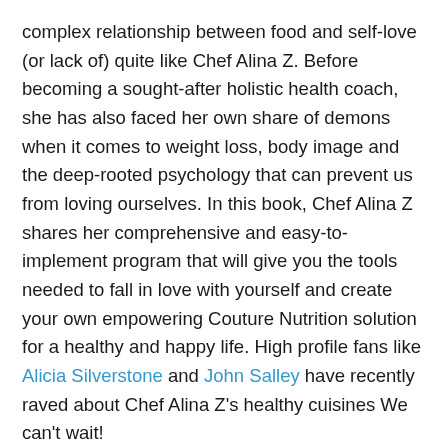complex relationship between food and self-love (or lack of) quite like Chef Alina Z. Before becoming a sought-after holistic health coach, she has also faced her own share of demons when it comes to weight loss, body image and the deep-rooted psychology that can prevent us from loving ourselves. In this book, Chef Alina Z shares her comprehensive and easy-to-implement program that will give you the tools needed to fall in love with yourself and create your own empowering Couture Nutrition solution for a healthy and happy life. High profile fans like Alicia Silverstone and John Salley have recently raved about Chef Alina Z's healthy cuisines We can't wait!
Then we welcome Courtney Osgood the Head of Communications for Cozymeal with locations all over the United States. Cozymeal offers experiences hosted at the chef's home...